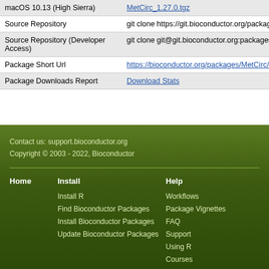|  |  |
| --- | --- |
| macOS 10.13 (High Sierra) | MetCirc_1.27.0.tgz |
| Source Repository | git clone https://git.bioconductor.org/packages/ |
| Source Repository (Developer Access) | git clone git@git.bioconductor.org:packages/M |
| Package Short Url | https://bioconductor.org/packages/MetCirc/ |
| Package Downloads Report | Download Stats |
Contact us: support.bioconductor.org
Copyright © 2003 - 2022, Bioconductor
Home
Install
Install R
Find Bioconductor Packages
Install Bioconductor Packages
Update Bioconductor Packages
Help
Workflows
Package Vignettes
FAQ
Support
Using R
Courses
Publications
Docker Images
Bioc in AnVIL
Community Resources